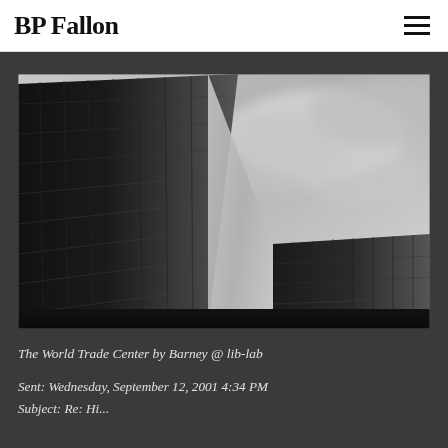BP Fallon
[Figure (photo): Black and white upward-looking photograph of the World Trade Center twin towers against a cloudy sky, shot from ground level looking up]
The World Trade Center by Barney @ lib-lab
Sent: Wednesday, September 12, 2001 4:34 PM
Subject: Re: Hi...